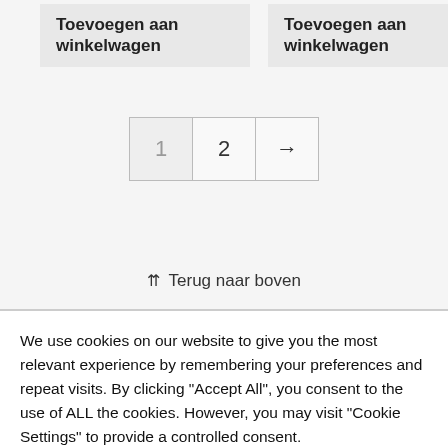Toevoegen aan winkelwagen
Toevoegen aan winkelwagen
1  2  →
⇈ Terug naar boven
We use cookies on our website to give you the most relevant experience by remembering your preferences and repeat visits. By clicking "Accept All", you consent to the use of ALL the cookies. However, you may visit "Cookie Settings" to provide a controlled consent.
Cookie Settings
Accept All